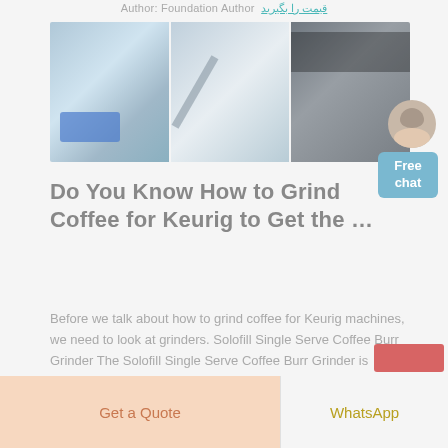Author: Foundation Authorقیمت را بگیرید
[Figure (photo): Three panel industrial machinery image strip showing cement/mining equipment, conveyor belts, and industrial machinery in outdoor settings]
Do You Know How to Grind Coffee for Keurig to Get the …
Before we talk about how to grind coffee for Keurig machines, we need to look at grinders. Solofill Single Serve Coffee Burr Grinder The Solofill Single Serve Coffee Burr Grinder is specifically made to grind coffee for single-serve machines. It is designed to
Get a Quote
WhatsApp